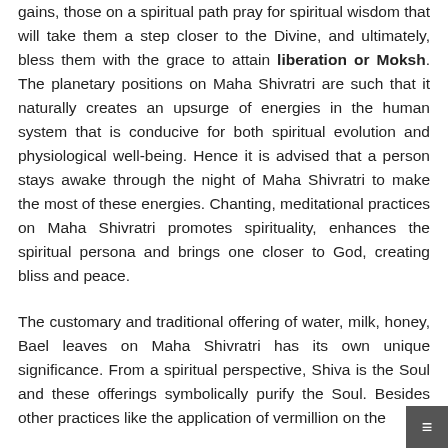gains, those on a spiritual path pray for spiritual wisdom that will take them a step closer to the Divine, and ultimately, bless them with the grace to attain liberation or Moksh. The planetary positions on Maha Shivratri are such that it naturally creates an upsurge of energies in the human system that is conducive for both spiritual evolution and physiological well-being. Hence it is advised that a person stays awake through the night of Maha Shivratri to make the most of these energies. Chanting, meditational practices on Maha Shivratri promotes spirituality, enhances the spiritual persona and brings one closer to God, creating bliss and peace.
The customary and traditional offering of water, milk, honey, Bael leaves on Maha Shivratri has its own unique significance. From a spiritual perspective, Shiva is the Soul and these offerings symbolically purify the Soul. Besides other practices like the application of vermillion on the